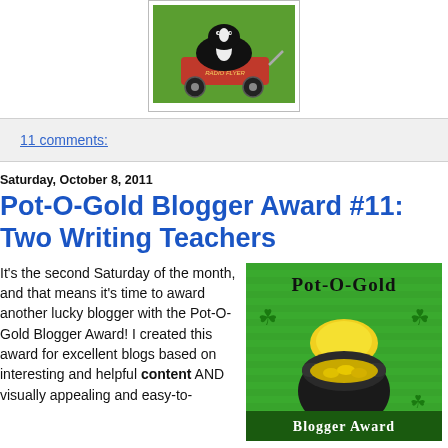[Figure (photo): A skunk sitting in a red Radio Flyer wagon on green grass]
11 comments:
Saturday, October 8, 2011
Pot-O-Gold Blogger Award #11: Two Writing Teachers
It's the second Saturday of the month, and that means it's time to award another lucky blogger with the Pot-O-Gold Blogger Award! I created this award for excellent blogs based on interesting and helpful content AND visually appealing and easy-to-
[Figure (illustration): Pot-O-Gold Blogger Award image with green background, shamrocks, a black pot of gold coins, and text 'Blogger Award']